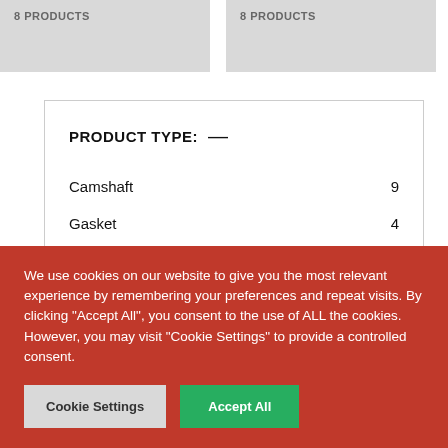8 PRODUCTS
8 PRODUCTS
PRODUCT TYPE: —
Camshaft 9
Gasket 4
Valve Spring Caps 1
Vernier Pulleys 2
We use cookies on our website to give you the most relevant experience by remembering your preferences and repeat visits. By clicking "Accept All", you consent to the use of ALL the cookies. However, you may visit "Cookie Settings" to provide a controlled consent.
Cookie Settings
Accept All